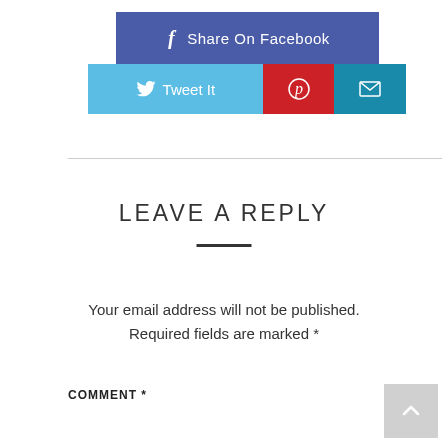[Figure (infographic): Social sharing buttons: Facebook Share On Facebook button (dark blue), Tweet It button (light blue with Twitter bird icon), Pinterest button (red with P icon), Email button (teal with envelope icon)]
LEAVE A REPLY
Your email address will not be published. Required fields are marked *
COMMENT *